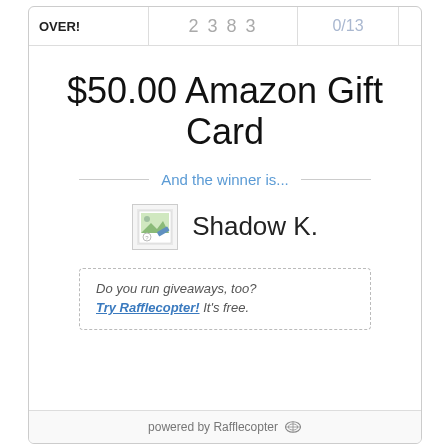OVER!
$50.00 Amazon Gift Card
And the winner is...
Shadow K.
Do you run giveaways, too? Try Rafflecopter! It's free.
powered by Rafflecopter